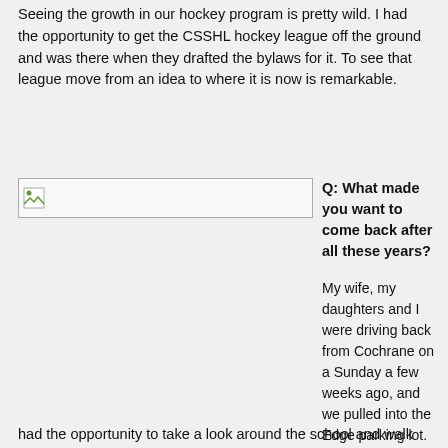Seeing the growth in our hockey program is pretty wild. I had the opportunity to get the CSSHL hockey league off the ground and was there when they drafted the bylaws for it. To see that league move from an idea to where it is now is remarkable.
[Figure (photo): Image placeholder with broken image icon]
Q: What made you want to come back after all these years?
My wife, my daughters and I were driving back from Cochrane on a Sunday a few weeks ago, and we pulled into the Edge parking lot. We had the opportunity to take a look around the school and walk